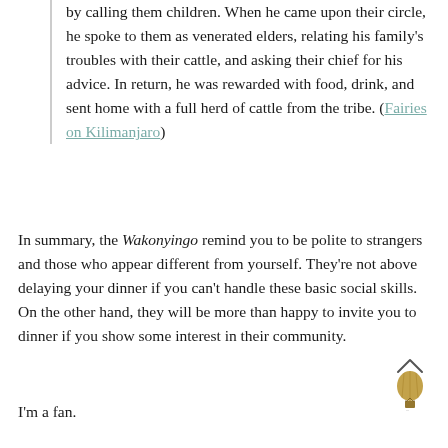by calling them children. When he came upon their circle, he spoke to them as venerated elders, relating his family's troubles with their cattle, and asking their chief for his advice. In return, he was rewarded with food, drink, and sent home with a full herd of cattle from the tribe. (Fairies on Kilimanjaro)
In summary, the Wakonyingo remind you to be polite to strangers and those who appear different from yourself. They're not above delaying your dinner if you can't handle these basic social skills. On the other hand, they will be more than happy to invite you to dinner if you show some interest in their community.
I'm a fan.